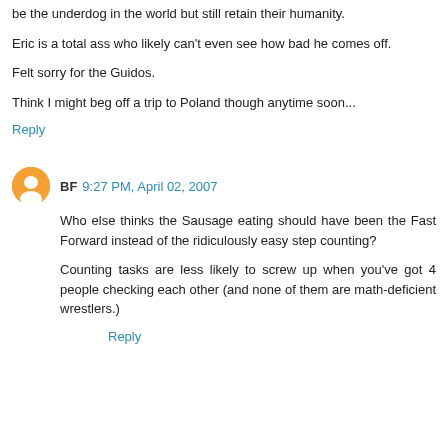be the underdog in the world but still retain their humanity.
Eric is a total ass who likely can't even see how bad he comes off.
Felt sorry for the Guidos.
Think I might beg off a trip to Poland though anytime soon...
Reply
BF 9:27 PM, April 02, 2007
Who else thinks the Sausage eating should have been the Fast Forward instead of the ridiculously easy step counting?
Counting tasks are less likely to screw up when you've got 4 people checking each other (and none of them are math-deficient wrestlers.)
Reply